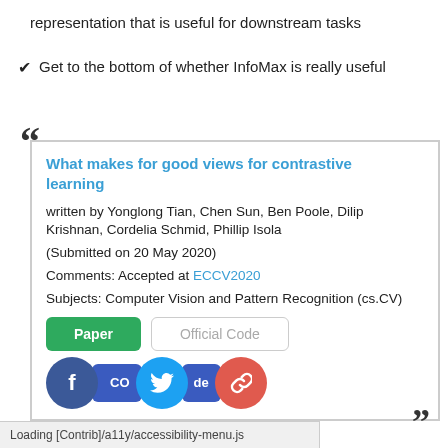representation that is useful for downstream tasks
✔ Get to the bottom of whether InfoMax is really useful
[Figure (screenshot): A quoted block/card showing a paper reference: 'What makes for good views for contrastive learning' by Yonglong Tian, Chen Sun, Ben Poole, Dilip Krishnan, Cordelia Schmid, Phillip Isola. Submitted on 20 May 2020. Comments: Accepted at ECCV2020. Subjects: Computer Vision and Pattern Recognition (cs.CV). Includes Paper button, Official Code button, Facebook/Twitter/link social share icons, and a loading bar at the bottom.]
Loading [Contrib]/a11y/accessibility-menu.js